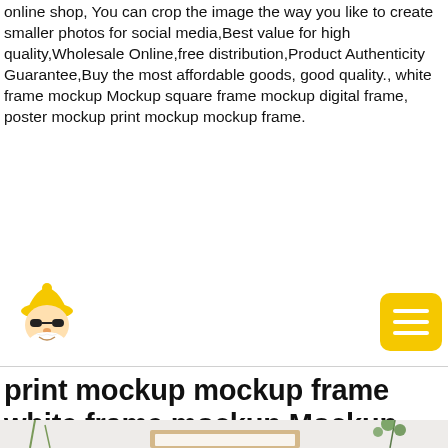online shop, You can crop the image the way you like to create smaller photos for social media,Best value for high quality,Wholesale Online,free distribution,Product Authenticity Guarantee,Buy the most affordable goods, good quality., white frame mockup Mockup square frame mockup digital frame, poster mockup print mockup mockup frame.
[Figure (logo): Cartoon gnome or Santa Claus face with yellow hat and white beard]
[Figure (other): Yellow rounded square button with three white horizontal lines (hamburger menu icon)]
print mockup mockup frame white frame mockup Mockup square frame mockup digital frame, poster mockup
[Figure (photo): Product mockup photo showing a wooden frame on a light background with green plants]